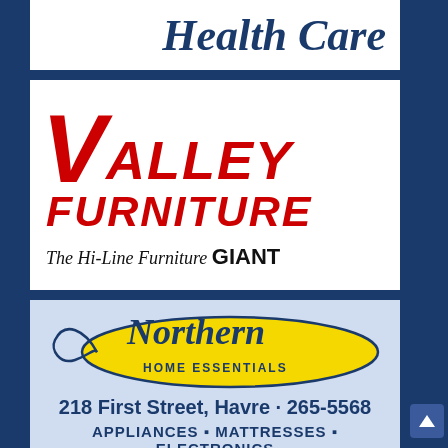[Figure (logo): Health Care logo/header text in dark blue italic serif font on white background]
[Figure (logo): Valley Furniture - The Hi-Line Furniture GIANT logo with large red italic V/ALLEY FURNITURE text on white background]
[Figure (logo): Northern Home Essentials logo on light blue background with yellow oval badge, address 218 First Street Havre 265-5568, services: APPLIANCES MATTRESSES ELECTRONICS]
[Figure (photo): Partial photo of a combine harvester in a wheat field]